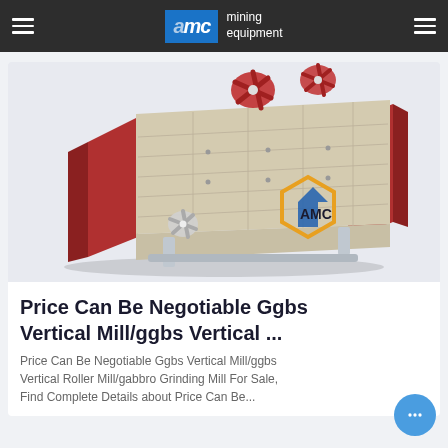AMC mining equipment
[Figure (photo): Industrial vibrating screen / mining equipment with red side panels, beige screen deck, and AMC logo watermark in the corner]
Price Can Be Negotiable Ggbs Vertical Mill/ggbs Vertical ...
Price Can Be Negotiable Ggbs Vertical Mill/ggbs Vertical Roller Mill/gabbro Grinding Mill For Sale, Find Complete Details about Price Can Be...